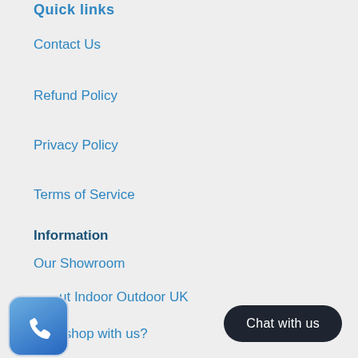Quick links
Contact Us
Refund Policy
Privacy Policy
Terms of Service
Information
Our Showroom
About Indoor Outdoor UK
Why shop with us?